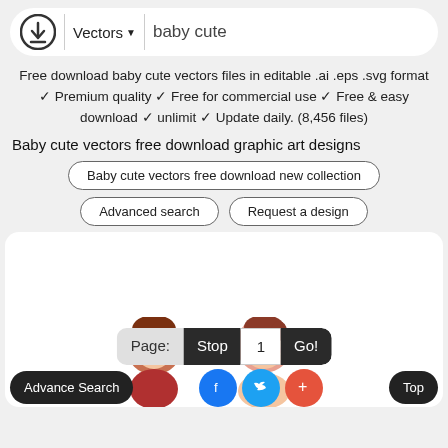[Figure (screenshot): Header bar with download icon, Vectors dropdown, and search text 'baby cute']
Free download baby cute vectors files in editable .ai .eps .svg format ✓ Premium quality ✓ Free for commercial use ✓ Free & easy download ✓ unlimit ✓ Update daily. (8,456 files)
Baby cute vectors free download graphic art designs
Baby cute vectors free download new collection
Advanced search
Request a design
[Figure (screenshot): Content card with page navigation showing Page: Stop 1 Go! and cartoon baby characters at bottom, along with social media buttons and Advance Search button]
Advance Search   f   Twitter   +   Top